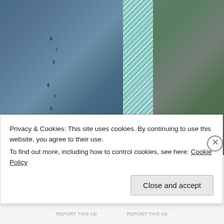[Figure (photo): Close-up photograph of a blue-grey knitted textile with lace hole pattern detail, alongside a teal and white chevron ribbon/strap, held against an outdoor blurred green garden background.]
Privacy & Cookies: This site uses cookies. By continuing to use this website, you agree to their use.
To find out more, including how to control cookies, see here: Cookie Policy
Close and accept